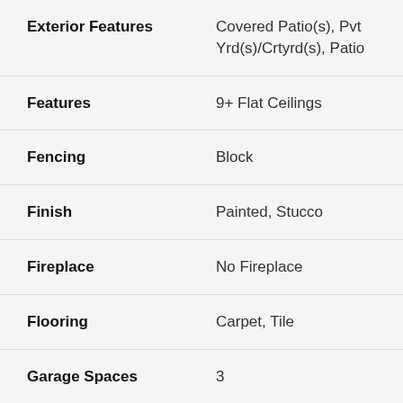| Property | Value |
| --- | --- |
| Exterior Features | Covered Patio(s), Pvt Yrd(s)/Crtyrd(s), Patio |
| Features | 9+ Flat Ceilings |
| Fencing | Block |
| Finish | Painted, Stucco |
| Fireplace | No Fireplace |
| Flooring | Carpet, Tile |
| Garage Spaces | 3 |
| Heating | Natural Gas |
| Kitchen Features | Disposal, Range/Oven Elec, Granite Countertops, Walk-in |